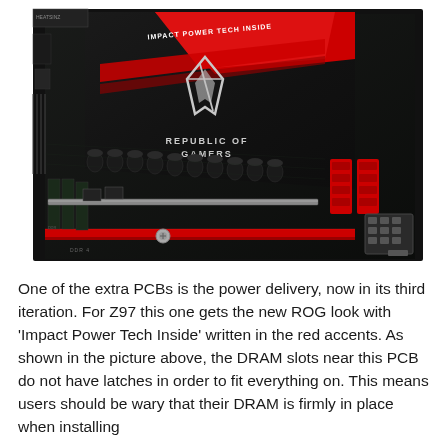[Figure (photo): Close-up photograph of an ASUS ROG (Republic of Gamers) motherboard power delivery PCB module. The black and red PCB features the ROG logo (stylized eye/slash symbol), 'REPUBLIC OF GAMERS' text, and 'IMPACT POWER TECH INSIDE' written in red accents. DRAM slots without latches are visible, along with capacitors, red power connectors, and PCIe/ATX connectors on a dark circuit board.]
One of the extra PCBs is the power delivery, now in its third iteration. For Z97 this one gets the new ROG look with 'Impact Power Tech Inside' written in the red accents. As shown in the picture above, the DRAM slots near this PCB do not have latches in order to fit everything on. This means users should be wary that their DRAM is firmly in place when installing